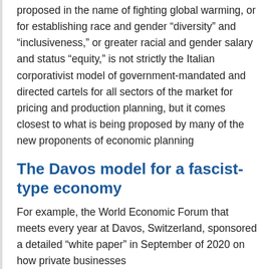proposed in the name of fighting global warming, or for establishing race and gender “diversity” and “inclusiveness,” or greater racial and gender salary and status “equity,” is not strictly the Italian corporativist model of government-mandated and directed cartels for all sectors of the market for pricing and production planning, but it comes closest to what is being proposed by many of the new proponents of economic planning
The Davos model for a fascist-type economy
For example, the World Economic Forum that meets every year at Davos, Switzerland, sponsored a detailed “white paper” in September of 2020 on how private businesses